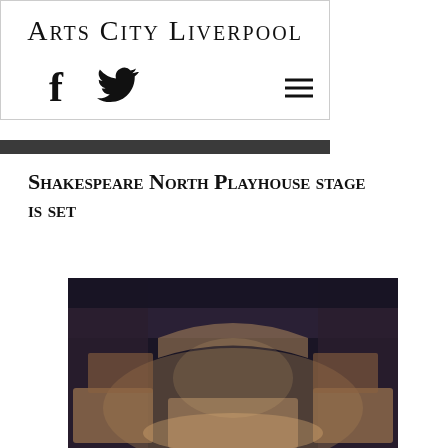Arts City Liverpool
Shakespeare North Playhouse stage is set
[Figure (photo): Interior view of the Shakespeare North Playhouse stage, showing a dark ornate theatre with wooden balconies and warm amber lighting, viewed from above.]